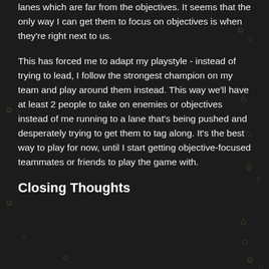lanes which are far from the objectives. It seems that the only way I can get them to focus on objectives is when they're right next to us.
This has forced me to adapt my playstyle - instead of trying to lead, I follow the strongest champion on my team and play around them instead. This way we'll have at least 2 people to take on enemies or objectives instead of me running to a lane that's being pushed and desperately trying to get them to tag along. It's the best way to play for now, until I start getting objective-focused teammates or friends to play the game with.
Closing Thoughts